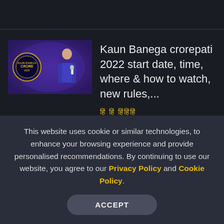[Figure (screenshot): Thumbnail image of Kaun Banega Crorepati show with Amitabh Bachchan in a blue suit against a purple background with show logo]
Kaun Banega crorepati 2022 start date, time, where & how to watch, new rules,...
हिंदी में पढ़ें (Read in Hindi) - represented by Hindi script dots
Related videos
This website uses cookie or similar technologies, to enhance your browsing experience and provide personalised recommendations. By continuing to use our website, you agree to our Privacy Policy and Cookie Policy.
ACCEPT